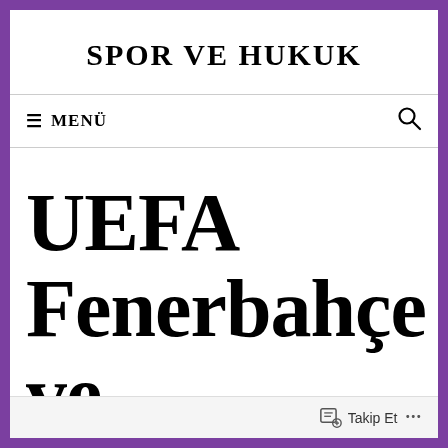SPOR VE HUKUK
≡ MENÜ
UEFA Fenerbahçe ve Beşiktaş'ın
Takip Et ...